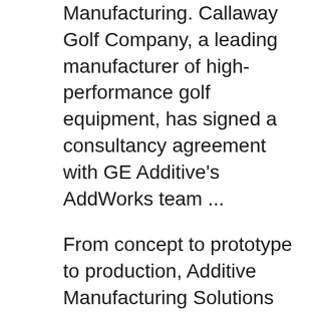Manufacturing. Callaway Golf Company, a leading manufacturer of high-performance golf equipment, has signed a consultancy agreement with GE Additive's AddWorks team ...
From concept to prototype to production, Additive Manufacturing Solutions LLC will bring your ideas to reality in minimal time and investment. By incorporating and using the technologies of 3D printing, Laser Scanning and Computer Aided Design we are capable of fulfilling projects of all sizes from the individual to the large corporation. Apr 02, 2018 · 3D Printing and Additive Manufacturing : Principles and Applications (with Companion